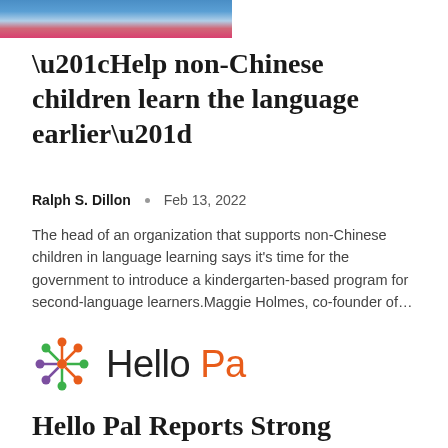[Figure (photo): Partial photo of a person in a pink/red top in front of a teal background]
“Help non-Chinese children learn the language earlier”
Ralph S. Dillon • Feb 13, 2022
The head of an organization that supports non-Chinese children in language learning says it’s time for the government to introduce a kindergarten-based program for second-language learners.Maggie Holmes, co-founder of…
[Figure (logo): Hello Pa logo with colorful snowflake/molecule icon and text Hello Pa in dark and orange]
Hello Pal Reports Strong